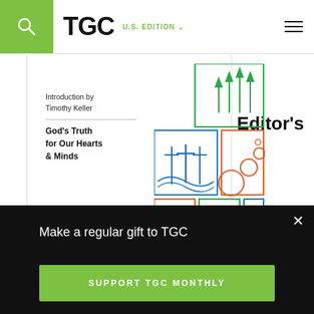TGC U.S. EDITION
[Figure (illustration): Book cover illustration with grid of icon boxes: trees (green), crosses on hill (blue), bubbles/circles (orange), person silhouette (orange), waves (green), vertical lines/bars (blue)]
Introduction by Timothy Keller
God's Truth for Our Hearts & Minds
Editor's
Make a regular gift to TGC
SUPPORT TGC MONTHLY